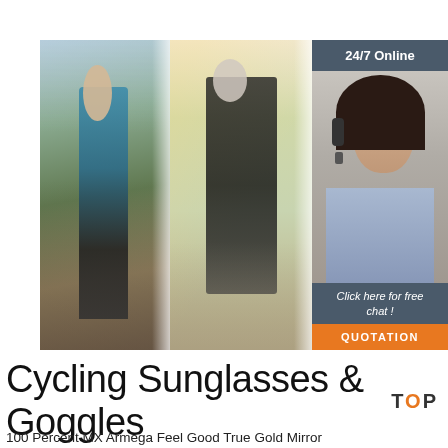[Figure (photo): Composite banner with three panels: (1) woman hiker with sunglasses jogging in mountains, (2) male cyclist wearing helmet and sunglasses on road bike, (3) customer service agent (woman with headset) with '24/7 Online' header, 'Click here for free chat!' text, and orange 'QUOTATION' button]
Cycling Sunglasses & Goggles for sale
100 Percent MX Armega Feel Good True Gold Mirror